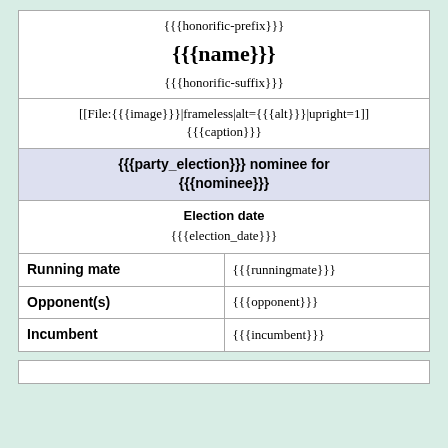| {{{honorific-prefix}}} |
| {{{name}}} |
| {{{honorific-suffix}}} |
| [[File:{{{image}}}|frameless|alt={{{alt}}}|upright=1]]
{{{caption}}} |
| {{{party_election}}} nominee for {{{nominee}}} |
| Election date
{{{election_date}}} |
| Running mate | {{{runningmate}}} |
| Opponent(s) | {{{opponent}}} |
| Incumbent | {{{incumbent}}} |